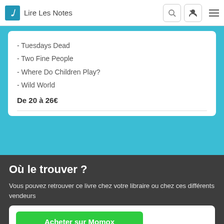Lire Les Notes
- Tuesdays Dead
- Two Fine People
- Where Do Children Play?
- Wild World
De 20 à 26€
Où le trouver ?
Vous pouvez retrouver ce livre chez votre libraire ou chez ces différents vendeurs
Acheter sur Momox